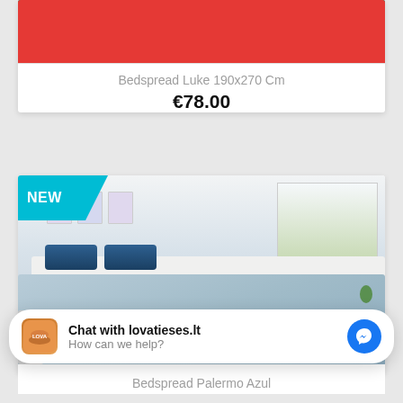[Figure (photo): Top portion of a colorful polka dot bedspread product photo (partially visible, cropped at top)]
Bedspread Luke 190x270 Cm
€78.00
[Figure (photo): Product photo of a light blue bedspread (Palermo Azul) on a bed in a bright bedroom, with dark blue pillows and purple flower artwork on walls. NEW badge in teal in the top-left corner.]
Chat with lovatieses.lt
How can we help?
Bedspread Palermo Azul